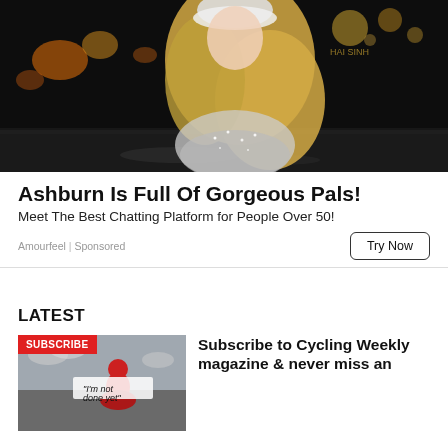[Figure (photo): Advertisement photo: blonde woman in sparkly silver outfit looking over shoulder at night with city lights bokeh background]
Ashburn Is Full Of Gorgeous Pals!
Meet The Best Chatting Platform for People Over 50!
Amourfeel | Sponsored
Try Now
LATEST
[Figure (photo): Cycling Weekly magazine subscription thumbnail with a cyclist and 'I'm not done yet' text and red SUBSCRIBE badge]
Subscribe to Cycling Weekly magazine & never miss an